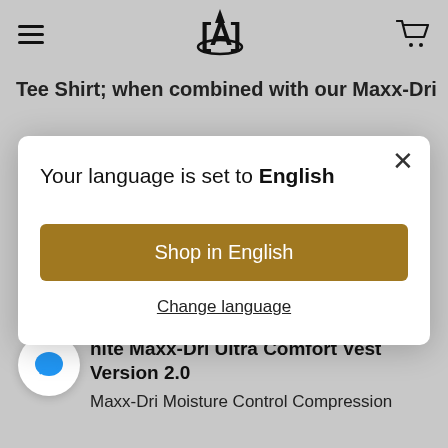[Figure (screenshot): E-commerce website navbar with hamburger menu, brand logo (stylized A), and shopping cart icon]
Tee Shirt; when combined with our Maxx-Dri
[Figure (screenshot): Language selection modal dialog with title 'Your language is set to English', a golden 'Shop in English' button, and a 'Change language' link]
hite Maxx-Dri Ultra Comfort Vest Version 2.0
Maxx-Dri Moisture Control Compression